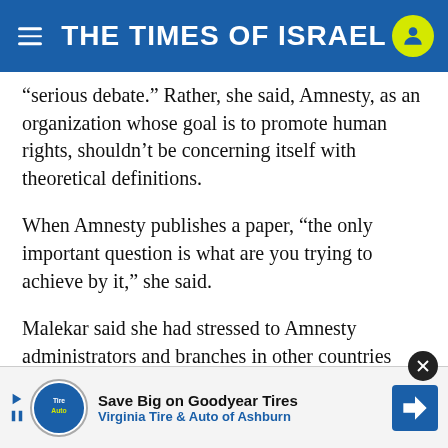THE TIMES OF ISRAEL
“serious debate.” Rather, she said, Amnesty, as an organization whose goal is to promote human rights, shouldn’t be concerning itself with theoretical definitions.
When Amnesty publishes a paper, “the only important question is what are you trying to achieve by it,” she said.
Malekar said she had stressed to Amnesty administrators and branches in other countries that within Israel there was a struggle between “nationalist forces and humanitarian forces.”
[Figure (infographic): Advertisement banner: Save Big on Goodyear Tires - Virginia Tire & Auto of Ashburn, with Tire Auto logo and navigation arrow icon]